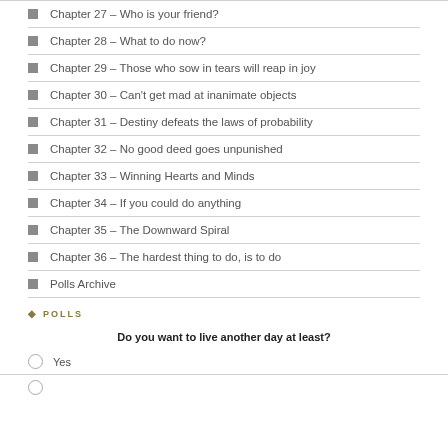Chapter 27 – Who is your friend?
Chapter 28 – What to do now?
Chapter 29 – Those who sow in tears will reap in joy
Chapter 30 – Can't get mad at inanimate objects
Chapter 31 – Destiny defeats the laws of probability
Chapter 32 – No good deed goes unpunished
Chapter 33 – Winning Hearts and Minds
Chapter 34 – If you could do anything
Chapter 35 – The Downward Spiral
Chapter 36 – The hardest thing to do, is to do
Polls Archive
POLLS
Do you want to live another day at least?
Yes